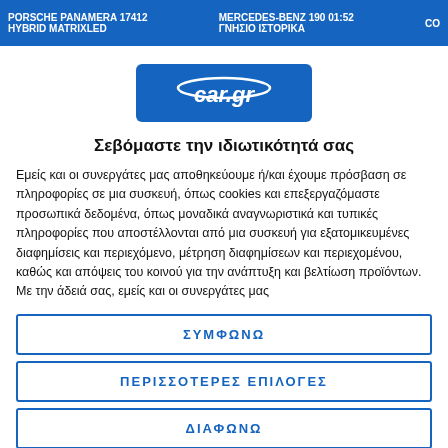Porsche Panamera 17412  HYBRID MATRIXLED | Mercedes-Benz 190 01:52  ΓΝΗΣΙΟ ΙΣΤΟΡΙΚΑ | CO
[Figure (logo): car.gr logo — white text on blue rounded rectangle background]
Σεβόμαστε την ιδιωτικότητά σας
Εμείς και οι συνεργάτες μας αποθηκεύουμε ή/και έχουμε πρόσβαση σε πληροφορίες σε μια συσκευή, όπως cookies και επεξεργαζόμαστε προσωπικά δεδομένα, όπως μοναδικά αναγνωριστικά και τυπικές πληροφορίες που αποστέλλονται από μια συσκευή για εξατομικευμένες διαφημίσεις και περιεχόμενο, μέτρηση διαφημίσεων και περιεχομένου, καθώς και απόψεις του κοινού για την ανάπτυξη και βελτίωση προϊόντων. Με την άδειά σας, εμείς και οι συνεργάτες μας
ΣΥΜΦΩΝΩ
ΠΕΡΙΣΣΟΤΕΡΕΣ ΕΠΙΛΟΓΕΣ
ΔΙΑΦΩΝΩ